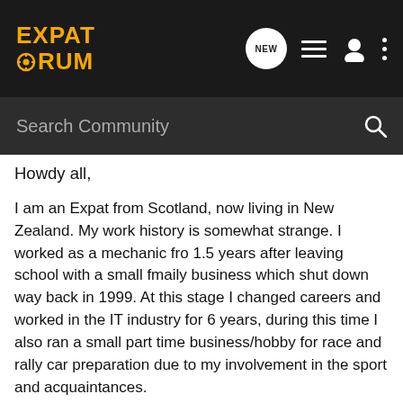EXPAT FORUM
Search Community
Howdy all,
I am an Expat from Scotland, now living in New Zealand. My work history is somewhat strange. I worked as a mechanic fro 1.5 years after leaving school with a small fmaily business which shut down way back in 1999. At this stage I changed careers and worked in the IT industry for 6 years, during this time I also ran a small part time business/hobby for race and rally car preparation due to my involvement in the sport and acquaintances.
I left UK in 2005 to travel and after seeing Aussie I got a job offer in Methven NZ as a mechanic after a free trial, long story short I done that for 6 months and the following 3 years I have been working for a VW/Audi dealership. During this time I have been working towards Auto Electrical Qualifications ...